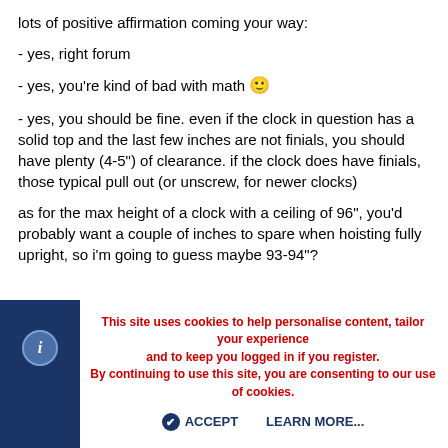lots of positive affirmation coming your way:
- yes, right forum
- yes, you're kind of bad with math 🙂
- yes, you should be fine. even if the clock in question has a solid top and the last few inches are not finials, you should have plenty (4-5") of clearance. if the clock does have finials, those typical pull out (or unscrew, for newer clocks)
as for the max height of a clock with a ceiling of 96", you'd probably want a couple of inches to spare when hoisting fully upright, so i'm going to guess maybe 93-94"?
This site uses cookies to help personalise content, tailor your experience and to keep you logged in if you register.
By continuing to use this site, you are consenting to our use of cookies.
ACCEPT   LEARN MORE...